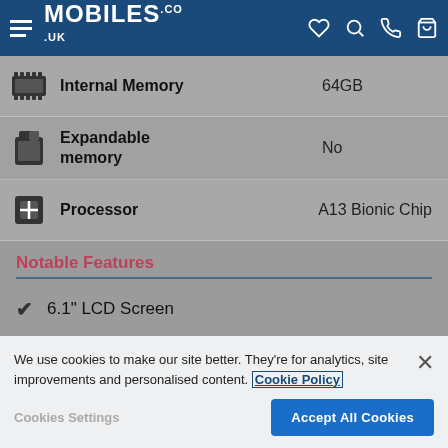MOBILES.CO.UK
Internal Memory — 64GB
Expandable memory — No
Processor — A13 Bionic Chip
Notable Features
6.1" LCD Screen
Dual 12MP Camera
We use cookies to make our site better. They're for analytics, site improvements and personalised content. Cookie Policy
Cookies Settings | Accept All Cookies